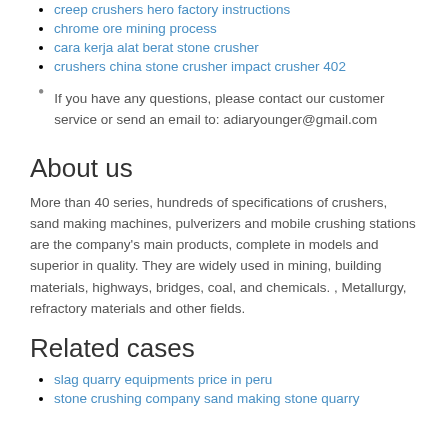creep crushers hero factory instructions
chrome ore mining process
cara kerja alat berat stone crusher
crushers china stone crusher impact crusher 402
If you have any questions, please contact our customer service or send an email to: adiaryounger@gmail.com
About us
More than 40 series, hundreds of specifications of crushers, sand making machines, pulverizers and mobile crushing stations are the company's main products, complete in models and superior in quality. They are widely used in mining, building materials, highways, bridges, coal, and chemicals. , Metallurgy, refractory materials and other fields.
Related cases
slag quarry equipments price in peru
stone crushing company sand making stone quarry